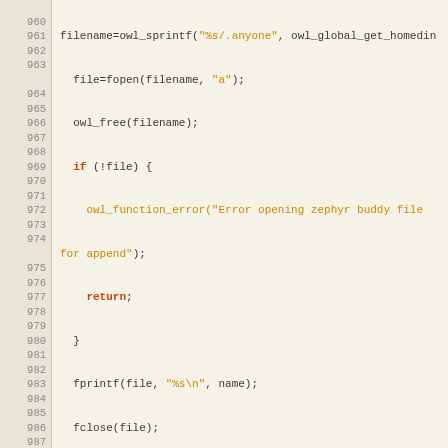[Figure (screenshot): Source code screenshot showing C code for owl_zephyr_addbuddy and owl_zephyr_delbuddy functions, with syntax highlighting. Line numbers 960-989 visible on left side. Background is light beige/tan. Code includes file operations, string formatting, and authentication string function declaration.]